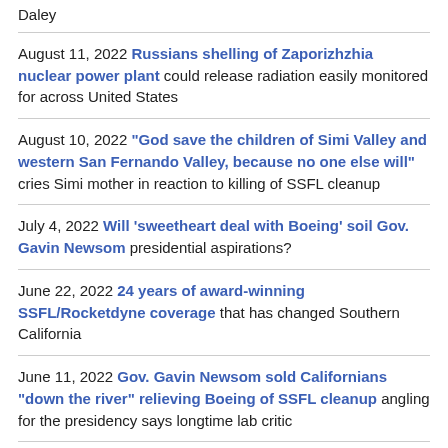Daley
August 11, 2022 Russians shelling of Zaporizhzhia nuclear power plant could release radiation easily monitored for across United States
August 10, 2022 "God save the children of Simi Valley and western San Fernando Valley, because no one else will" cries Simi mother in reaction to killing of SSFL cleanup
July 4, 2022 Will 'sweetheart deal with Boeing' soil Gov. Gavin Newsom presidential aspirations?
June 22, 2022 24 years of award-winning SSFL/Rocketdyne coverage that has changed Southern California
June 11, 2022 Gov. Gavin Newsom sold Californians "down the river" relieving Boeing of SSFL cleanup angling for the presidency says longtime lab critic
June 8, 2022 "Contempt of the people" drives SSFL cleanup — Rocketdyne critic